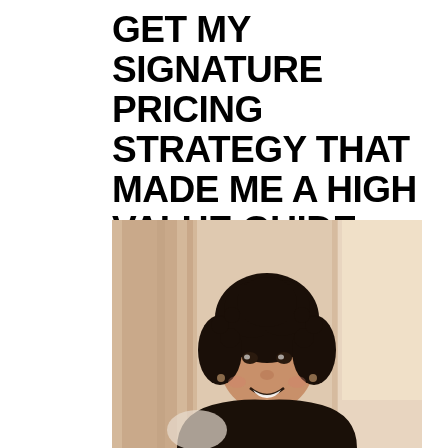GET MY SIGNATURE PRICING STRATEGY THAT MADE ME A HIGH VALUE GUIDE MAKING CONSISTENT 5 FIGURE MONTHS
[Figure (photo): Portrait photo of a smiling woman with curly dark hair, wearing dark clothing, photographed indoors with a warm, softly lit background featuring blurred architectural elements in beige and white tones.]